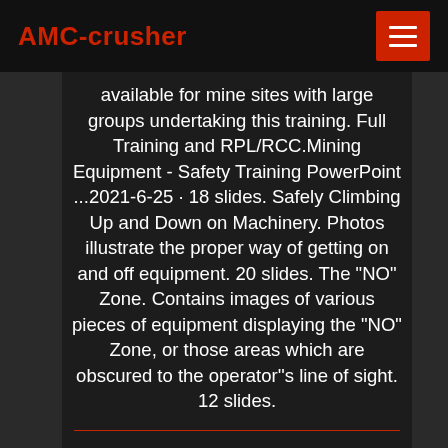AMC-crusher
available for mine sites with large groups undertaking this training. Full Training and RPL/RCC.Mining Equipment - Safety Training PowerPoint ...2021-6-25 · 18 slides. Safely Climbing Up and Down on Machinery. Photos illustrate the proper way of getting on and off equipment. 20 slides. The "NO" Zone. Contains images of various pieces of equipment displaying the "NO" Zone, or those areas which are obscured to the operator''s line of sight. 12 slides.
MODELS FOR MINING EQUIPMENT SELECTION
2013-1-15 · to the operating expense of equipment. Consequently, available methods can only consider a small subset of the possible combinations of trucks and